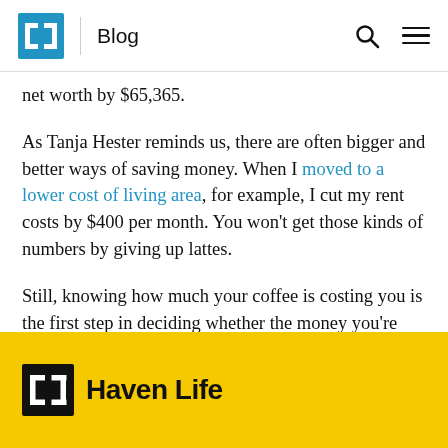Blog
net worth by $65,365.
As Tanja Hester reminds us, there are often bigger and better ways of saving money. When I moved to a lower cost of living area, for example, I cut my rent costs by $400 per month. You won't get those kinds of numbers by giving up lattes.
Still, knowing how much your coffee is costing you is the first step in deciding whether the money you're spending on coffee is worth it.
Haven Life